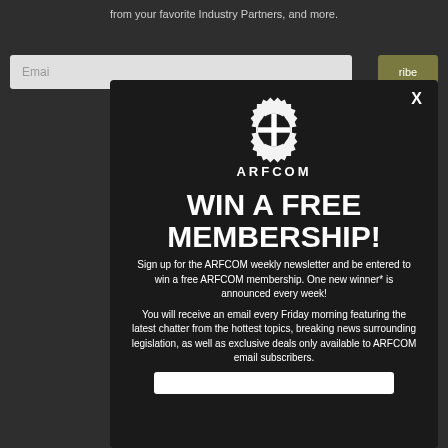from your favorite Industry Partners, and more.
[Figure (screenshot): ARFCOM logo — gear/cog shape with bolt/rifle cross inside, white on dark background, with text ARFCOM below]
WIN A FREE MEMBERSHIP!
Sign up for the ARFCOM weekly newsletter and be entered to win a free ARFCOM membership. One new winner* is announced every week!
You will receive an email every Friday morning featuring the latest chatter from the hottest topics, breaking news surrounding legislation, as well as exclusive deals only available to ARFCOM email subscribers.